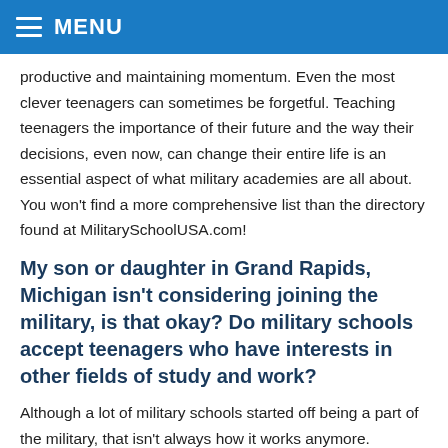MENU
productive and maintaining momentum. Even the most clever teenagers can sometimes be forgetful. Teaching teenagers the importance of their future and the way their decisions, even now, can change their entire life is an essential aspect of what military academies are all about. You won't find a more comprehensive list than the directory found at MilitarySchoolUSA.com!
My son or daughter in Grand Rapids, Michigan isn't considering joining the military, is that okay? Do military schools accept teenagers who have interests in other fields of study and work?
Although a lot of military schools started off being a part of the military, that isn't always how it works anymore. Although joining the military after graduation was an initial goal of military schools, today over 90% of graduates go on to